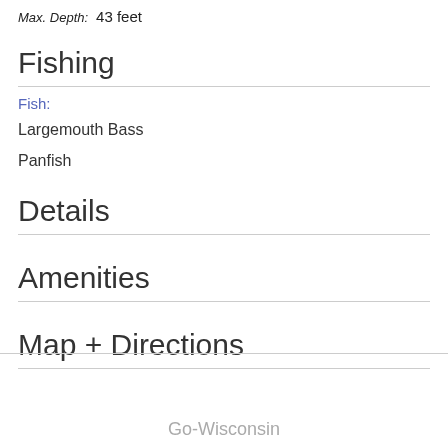Max. Depth: 43 feet
Fishing
Fish:
Largemouth Bass
Panfish
Details
Amenities
Map + Directions
Go-Wisconsin